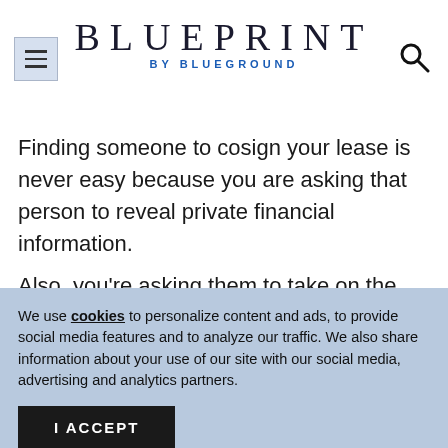BLUEPRINT BY BLUEGROUND
Finding someone to cosign your lease is never easy because you are asking that person to reveal private financial information.
Also, you're asking them to take on the
We use cookies to personalize content and ads, to provide social media features and to analyze our traffic. We also share information about your use of our site with our social media, advertising and analytics partners.
I ACCEPT